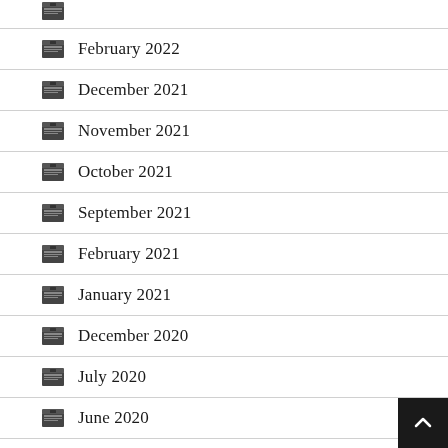(partial top item)
February 2022
December 2021
November 2021
October 2021
September 2021
February 2021
January 2021
December 2020
July 2020
June 2020
(partial bottom item)